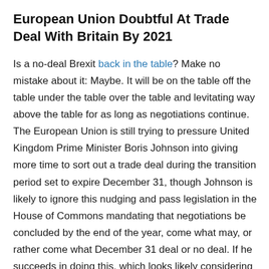European Union Doubtful At Trade Deal With Britain By 2021
Is a no-deal Brexit back in the table? Make no mistake about it: Maybe. It will be on the table off the table under the table over the table and levitating way above the table for as long as negotiations continue. The European Union is still trying to pressure United Kingdom Prime Minister Boris Johnson into giving more time to sort out a trade deal during the transition period set to expire December 31, though Johnson is likely to ignore this nudging and pass legislation in the House of Commons mandating that negotiations be concluded by the end of the year, come what may, or rather come what December 31 deal or no deal. If he succeeds in doing this, which looks likely considering his massive majority and popularity in Great Britain, the EU won't have much wiggle room to pressure him that much. On this front, Johnson is conducting concurrent